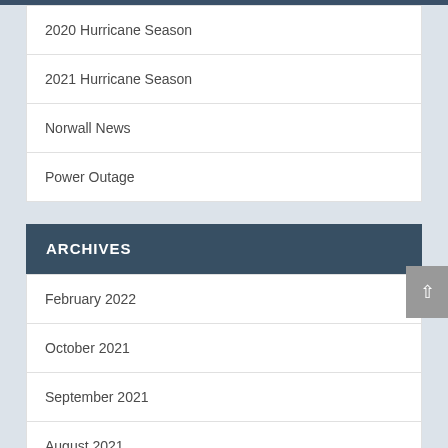2020 Hurricane Season
2021 Hurricane Season
Norwall News
Power Outage
ARCHIVES
February 2022
October 2021
September 2021
August 2021